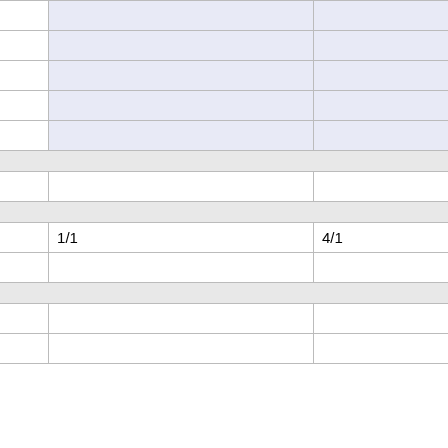| Entry | Col2 | Col3 |
| --- | --- | --- |
| Walter Freed, D32 |  |  |
| Charles Mortimer, D2 |  |  |
| Automobilia Ltd, D44 |  |  |
| Automobilia Ltd, D45 |  |  |
| Briggs Cunningham, D15 (Cadillac 5.4) |  |  |
| Total points 8 |  |  |
| Works Starts/finishes 13/9 | 1/1 | 4/1 |
| Drivers |  |  |
| C. H. Masters |  |  |
| Mike Oliver |  |  |